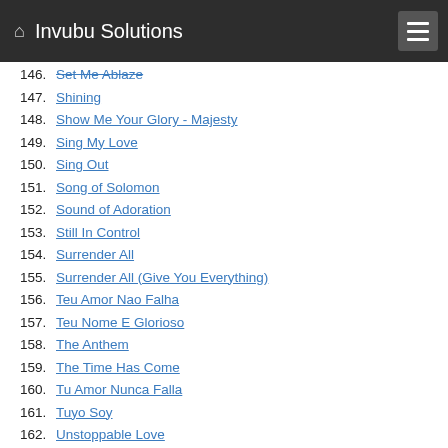Invubu Solutions
146. Set Me Ablaze
147. Shining
148. Show Me Your Glory - Majesty
149. Sing My Love
150. Sing Out
151. Song of Solomon
152. Sound of Adoration
153. Still In Control
154. Surrender All
155. Surrender All (Give You Everything)
156. Teu Amor Nao Falha
157. Teu Nome E Glorioso
158. The Anthem
159. The Time Has Come
160. Tu Amor Nunca Falla
161. Tuyo Soy
162. Unstoppable Love
163. Waiting Here for You
164. Walk With Me